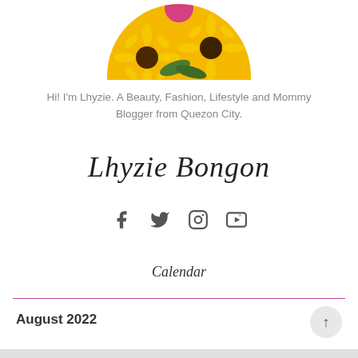[Figure (photo): Circular cropped photo of sunflowers at the top center of the page]
Hi! I'm Lhyzie. A Beauty, Fashion, Lifestyle and Mommy Blogger from Quezon City.
[Figure (illustration): Handwritten script signature reading 'Lhyzie Bongon']
[Figure (infographic): Social media icons: Facebook, Twitter, Instagram, YouTube]
Calendar
August 2022